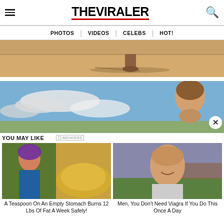THE VIRALER — PHOTOS | VIDEOS | CELEBS | HOT!
[Figure (photo): Person's bare feet walking on sandy beach, partial legs visible, shadows on sand]
[Figure (photo): Woman smiling against a blue sky with clouds, advertisement image]
YOU MAY LIKE
[Figure (photo): Thumbnail: Woman with purple hair running and a pile of yellow powder/turmeric]
A Teaspoon On An Empty Stomach Burns 12 Lbs Of Fat A Week Safely!
[Figure (photo): Thumbnail: Blonde woman smiling outdoors in garden]
Men, You Don't Need Viagra If You Do This Once A Day